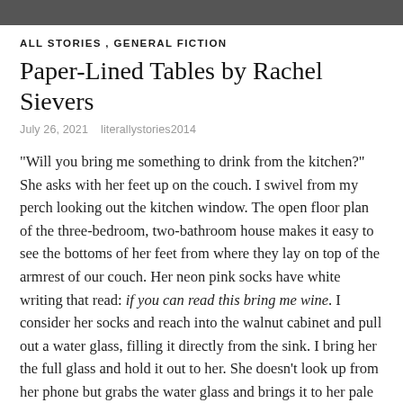[Figure (photo): Dark image bar at top of page]
ALL STORIES , GENERAL FICTION
Paper-Lined Tables by Rachel Sievers
July 26, 2021   literallystories2014
“Will you bring me something to drink from the kitchen?” She asks with her feet up on the couch. I swivel from my perch looking out the kitchen window. The open floor plan of the three-bedroom, two-bathroom house makes it easy to see the bottoms of her feet from where they lay on top of the armrest of our couch. Her neon pink socks have white writing that read: if you can read this bring me wine. I consider her socks and reach into the walnut cabinet and pull out a water glass, filling it directly from the sink. I bring her the full glass and hold it out to her. She doesn’t look up from her phone but grabs the water glass and brings it to her pale and chapped lips. She needs to drink more water.